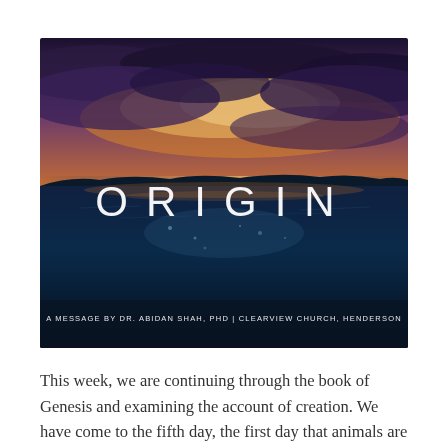[Figure (illustration): Dramatic photo with ocean water in foreground (below waterline) and a sunset sky with orange and purple clouds above the waterline. Large white spaced letters 'O R I G I N' displayed across the middle. Below the title text reads: 'A MESSAGE BY DR. ABIDAN SHAH, PHD | CLEARVIEW CHURCH, HENDERSON']
This week, we are continuing through the book of Genesis and examining the account of creation. We have come to the fifth day, the first day that animals are created. From this moment, the world was teeming with life, each one designed uniquely by a loving Creator. The title of this weekend's message is "ORIGIN."